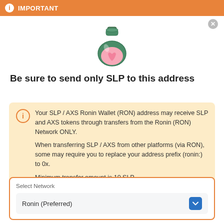IMPORTANT
[Figure (illustration): A green potion bottle with pink liquid inside, cartoon style emoji]
Be sure to send only SLP to this address
Your SLP / AXS Ronin Wallet (RON) address may receive SLP and AXS tokens through transfers from the Ronin (RON) Network ONLY.

When transferring SLP / AXS from other platforms (via RON), some may require you to replace your address prefix (ronin:) to 0x.

Minimum transfer amount is 10 SLP.
Select Network
Ronin (Preferred)